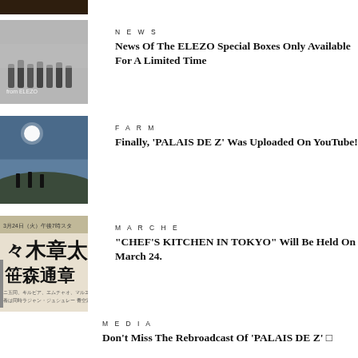[Figure (photo): Partial top image, dark tones]
[Figure (photo): Group of people in white coats outside a building (ELEZO article image)]
NEWS
News Of The ELEZO Special Boxes Only Available For A Limited Time
[Figure (photo): Outdoor scene with sun, silhouettes of people on a hill overlooking a body of water (FARM article image)]
FARM
Finally, 'PALAIS DE Z' Was Uploaded On YouTube!
[Figure (photo): Japanese TV poster with kanji characters (MARCHE article image)]
MARCHE
“CHEF’S KITCHEN IN TOKYO” Will Be Held On March 24.
MEDIA
Don’t Miss The Rebroadcast Of ‘PALAIS DE Z’ □